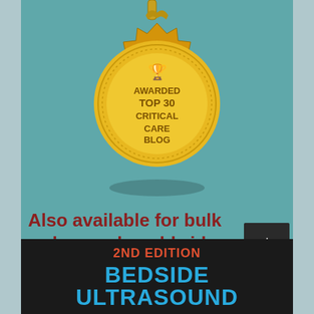[Figure (illustration): Gold starburst medal badge with trophy icon and text reading AWARDED TOP 30 CRITICAL CARE BLOG, on teal background with shadow beneath]
Also available for bulk orders and worldwide shipping here:
2ND EDITION
BEDSIDE ULTRASOUND